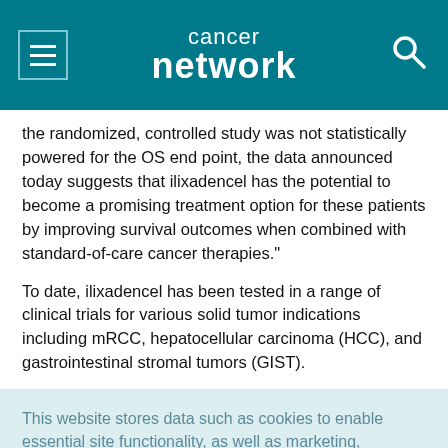cancer network
the randomized, controlled study was not statistically powered for the OS end point, the data announced today suggests that ilixadencel has the potential to become a promising treatment option for these patients by improving survival outcomes when combined with standard-of-care cancer therapies."
To date, ilixadencel has been tested in a range of clinical trials for various solid tumor indications including mRCC, hepatocellular carcinoma (HCC), and gastrointestinal stromal tumors (GIST).
This website stores data such as cookies to enable essential site functionality, as well as marketing, personalization, and analytics. Cookie Policy
Accept
Deny